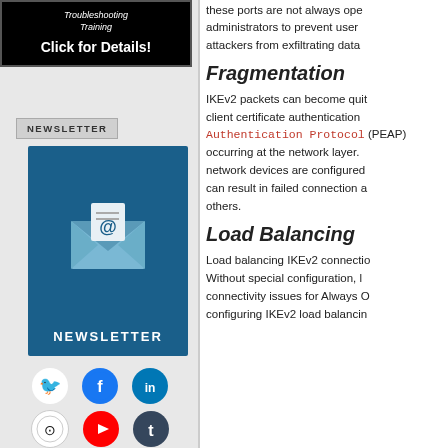[Figure (illustration): Black advertisement box with italic text 'Troubleshooting Training' and bold 'Click for Details!']
NEWSLETTER
[Figure (illustration): Dark blue newsletter graphic showing an envelope with @ symbol and the word NEWSLETTER]
[Figure (infographic): Social media icons: Twitter (blue bird), Facebook (blue f), LinkedIn (blue in), GitHub (black octocat), YouTube (red play button), Tumblr (dark blue t)]
these ports are not always ope administrators to prevent user attackers from exfiltrating data
Fragmentation
IKEv2 packets can become quit client certificate authentication Authentication Protocol (PEAP) occurring at the network layer. network devices are configured can result in failed connection a others.
Load Balancing
Load balancing IKEv2 connectio Without special configuration, I connectivity issues for Always O configuring IKEv2 load balancin